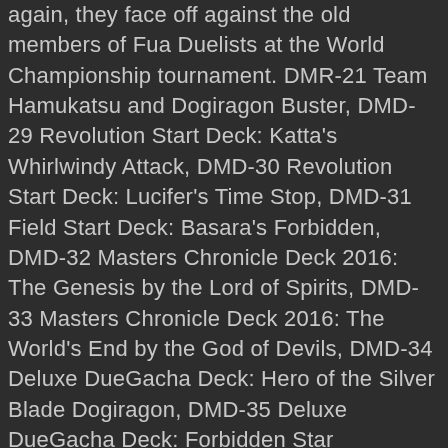again, they face off against the old members of Fua Duelists at the World Championship tournament. DMR-21 Team Hamukatsu and Dogiragon Buster, DMD-29 Revolution Start Deck: Katta's Whirlwindy Attack, DMD-30 Revolution Start Deck: Lucifer's Time Stop, DMD-31 Field Start Deck: Basara's Forbidden, DMD-32 Masters Chronicle Deck 2016: The Genesis by the Lord of Spirits, DMD-33 Masters Chronicle Deck 2016: The World's End by the God of Devils, DMD-34 Deluxe DueGacha Deck: Hero of the Silver Blade Dogiragon, DMD-35 Deluxe DueGacha Deck: Forbidden Star Dokindam. There is no limit to the number of Cross Gear that can be crossed onto a creature, and the only way to remove a Cross Gear from the battle zone is through effects that specifically affect Cross Gear cards (such as Martial Law or Julius, Thunder Elemental). It's an epic duel, I recommend you read it! Duel Masters Victory TV Anime to Premiere April 2 (Mar 31, 2011) As-Yet-Unannounced Racing TV Anime Slated for 2010 (Aug 5, 2010) Duel Masters: Honō no Kizuna XX Film to Open in August (Jul 12, 2010) They are often referred to as "magical weapons" in the